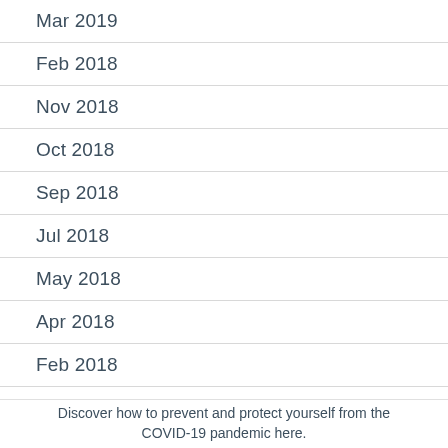Mar 2019
Feb 2018
Nov 2018
Oct 2018
Sep 2018
Jul 2018
May 2018
Apr 2018
Feb 2018
Jan 2018
Dec 2017
Discover how to prevent and protect yourself from the COVID-19 pandemic here.